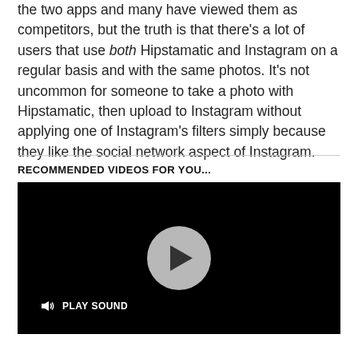the two apps and many have viewed them as competitors, but the truth is that there's a lot of users that use both Hipstamatic and Instagram on a regular basis and with the same photos. It's not uncommon for someone to take a photo with Hipstamatic, then upload to Instagram without applying one of Instagram's filters simply because they like the social network aspect of Instagram.
RECOMMENDED VIDEOS FOR YOU...
[Figure (other): Black video player with a grey circular play button in the center and a 'PLAY SOUND' button with a speaker icon in the bottom-left corner.]